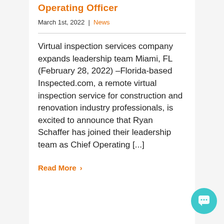Operating Officer
March 1st, 2022  |  News
Virtual inspection services company expands leadership team Miami, FL (February 28, 2022) –Florida-based Inspected.com, a remote virtual inspection service for construction and renovation industry professionals, is excited to announce that Ryan Schaffer has joined their leadership team as Chief Operating [...]
Read More >